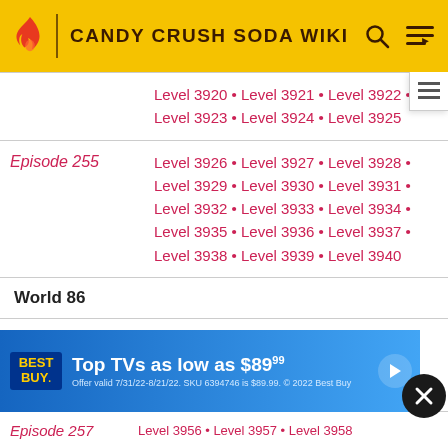CANDY CRUSH SODA WIKI
| Episode | Levels |
| --- | --- |
|  | Level 3920 • Level 3921 • Level 3922 • Level 3923 • Level 3924 • Level 3925 |
| Episode 255 | Level 3926 • Level 3927 • Level 3928 • Level 3929 • Level 3930 • Level 3931 • Level 3932 • Level 3933 • Level 3934 • Level 3935 • Level 3936 • Level 3937 • Level 3938 • Level 3939 • Level 3940 |
| World 86 |  |
| Episode 256 | Level 3941 • Level 3942 • Level 3943 • Level 3944 • Level 3945 • Level 3946 • Level 3947 • Level 3948 • Level 3949 • Level 3950 • Level 3951 • Level... |
| Episode 257 | Level 3956 • Level 3957 • Level 3958 |
[Figure (infographic): Best Buy advertisement banner: 'Top TVs as low as $89.99'. Offer valid 7/31/22-8/21/22. SKU 6394746 is $89.99. © 2022 Best Buy]